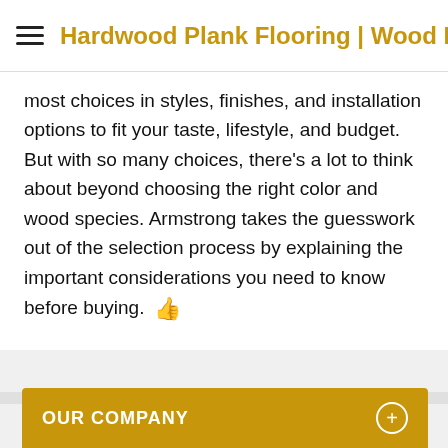Hardwood Plank Flooring | Wood Flo...
most choices in styles, finishes, and installation options to fit your taste, lifestyle, and budget. But with so many choices, there's a lot to think about beyond choosing the right color and wood species. Armstrong takes the guesswork out of the selection process by explaining the important considerations you need to know before buying.
OUR COMPANY